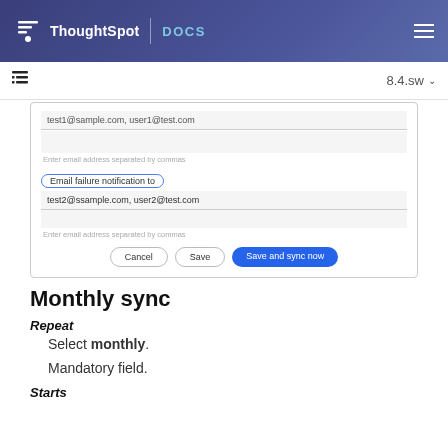ThoughtSpot | DOCS
[Figure (screenshot): ThoughtSpot UI screenshot showing email form fields with 'Email failure notification to' label, email addresses test2@ssample.com and user2@test.com, placeholder hint text 'Enter email address separated by commas', and Cancel/Save/Save and sync now buttons]
Monthly sync
Repeat
Select monthly.
Mandatory field.
Starts